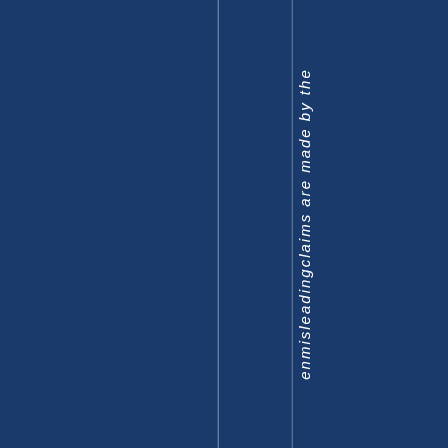enmisleading claims are made by the